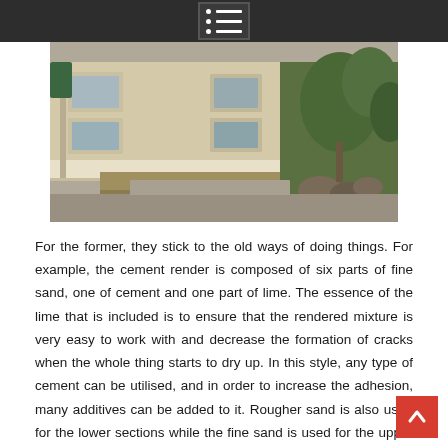menu icon with list
[Figure (photo): Exterior view of a rendered cement house with windows, pathway, dry grass lawn, and garden rocks with green plants on the right side]
For the former, they stick to the old ways of doing things. For example, the cement render is composed of six parts of fine sand, one of cement and one part of lime. The essence of the lime that is included is to ensure that the rendered mixture is very easy to work with and decrease the formation of cracks when the whole thing starts to dry up. In this style, any type of cement can be utilised, and in order to increase the adhesion, many additives can be added to it. Rougher sand is also used for the lower sections while the fine sand is used for the upper layers and this is how it has been for centuries. Some have often compared the